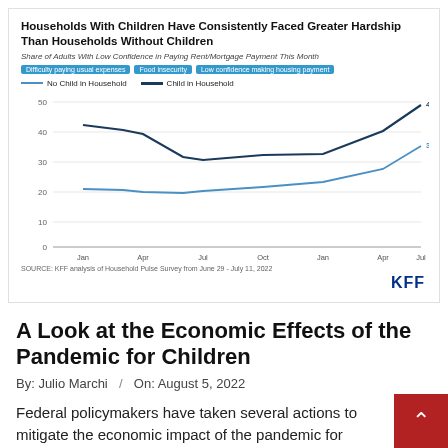[Figure (line-chart): Two line chart showing share of adults with hardship indicators from Jan 2021 to Jul 2022. Child in Household line ends at 49%, No Child in Household line ends at 35%.]
SOURCE: KFF analysis of Household Pulse Survey from June 29 - July 11, 2022
A Look at the Economic Effects of the Pandemic for Children
By: Julio Marchi  /  On: August 5, 2022
Federal policymakers have taken several actions to mitigate the economic impact of the pandemic for families and children by providing state fiscal relief